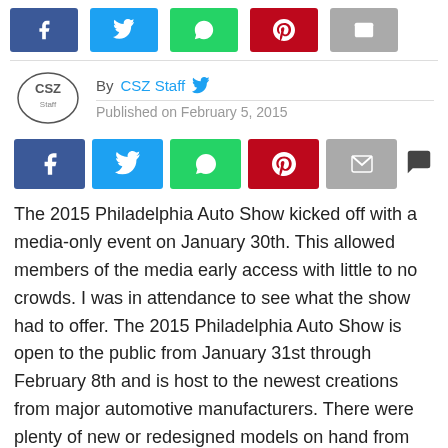[Figure (other): Social share buttons row (Facebook, Twitter, WhatsApp, Pinterest, Email) at top of page]
By CSZ Staff  Published on February 5, 2015
[Figure (other): Social share buttons row (Facebook, Twitter, WhatsApp, Pinterest, Email) with comment icon]
The 2015 Philadelphia Auto Show kicked off with a media-only event on January 30th. This allowed members of the media early access with little to no crowds. I was in attendance to see what the show had to offer. The 2015 Philadelphia Auto Show is open to the public from January 31st through February 8th and is host to the newest creations from major automotive manufacturers. There were plenty of new or redesigned models on hand from most of the major automotive manufacturers. Everything from fully electric vehicles to exotics were on